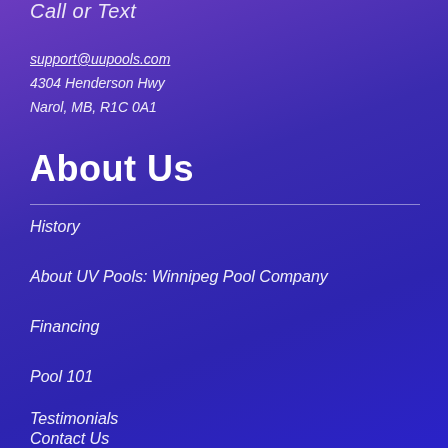Call or Text
support@uupools.com
4304 Henderson Hwy
Narol, MB, R1C 0A1
About Us
History
About UV Pools: Winnipeg Pool Company
Financing
Pool 101
Testimonials
Contact Us